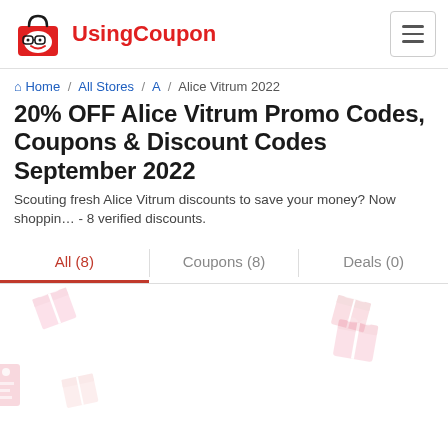UsingCoupon
Home / All Stores / A / Alice Vitrum 2022
20% OFF Alice Vitrum Promo Codes, Coupons & Discount Codes September 2022
Scouting fresh Alice Vitrum discounts to save your money? Now shopping - 8 verified discounts.
All (8)  Coupons (8)  Deals (0)